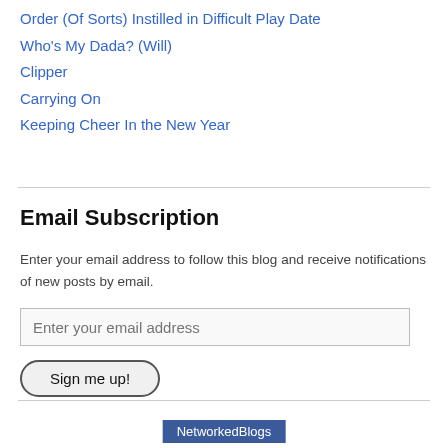Order (Of Sorts) Instilled in Difficult Play Date
Who’s My Dada? (Will)
Clipper
Carrying On
Keeping Cheer In the New Year
Email Subscription
Enter your email address to follow this blog and receive notifications of new posts by email.
Enter your email address
Sign me up!
NetworkedBlogs